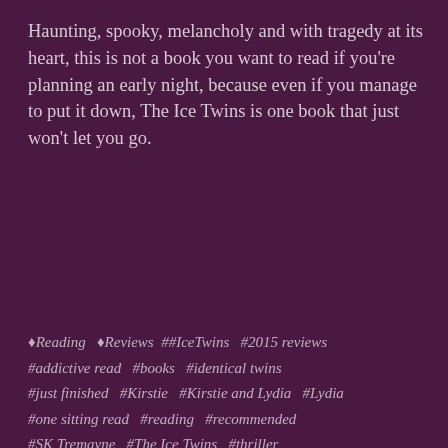Haunting, spooky, melancholy and with tragedy at its heart, this is not a book you want to read if you're planning an early night, because even if you manage to put it down, The Ice Twins is one book that just won't let you go.
♦Reading  ♦Reviews  ##IceTwins  #2015 reviews #addictive read  #books  #identical twins #just finished  #Kirstie  #Kirstie and Lydia  #Lydia #one sitting read  #reading  #recommended #SK Tremayne  #The Ice Twins  #thriller
LEAVE A COMMENT
Privacy & Cookies: This site uses cookies. By continuing to use this website, you agree to their use.
To find out more, including how to control cookies, see here: Cookie Policy
Close and accept